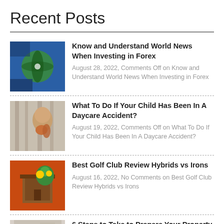Recent Posts
Know and Understand World News When Investing in Forex
August 28, 2022, Comments Off on Know and Understand World News When Investing in Forex
What To Do If Your Child Has Been In A Daycare Accident?
August 19, 2022, Comments Off on What To Do If Your Child Has Been In A Daycare Accident?
Best Golf Club Review Hybrids vs Irons
August 16, 2022, No Comments on Best Golf Club Review Hybrids vs Irons
6 Steps to Take to Prepare Your Property for Rental
August 11, 2022, Comments Off on 6 Steps to Take to Prepare Your Property for Rental
How to...